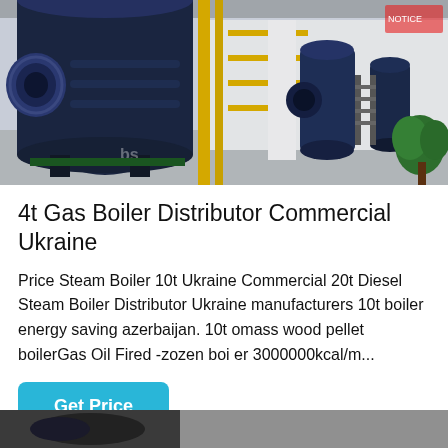[Figure (photo): Industrial boiler room with large blue cylindrical boilers, yellow pipework, and machinery in a factory setting.]
4t Gas Boiler Distributor Commercial Ukraine
Price Steam Boiler 10t Ukraine Commercial 20t Diesel Steam Boiler Distributor Ukraine manufacturers 10t boiler energy saving azerbaijan. 10t biomass wood pellet boilerGas Oil Fired -zozen boiler 3000000kcal/m...
[Figure (screenshot): WhatsApp contact button (green circle with phone icon) and 'Contact us now!' green pill button overlay.]
Get Price
[Figure (photo): Partial view of another boiler or industrial equipment at the bottom of the page.]